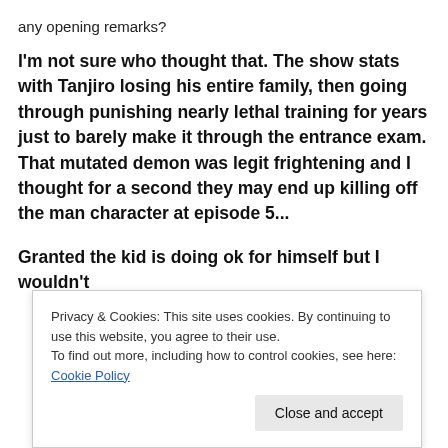any opening remarks?
I'm not sure who thought that. The show stats with Tanjiro losing his entire family, then going through punishing nearly lethal training for years just to barely make it through the entrance exam. That mutated demon was legit frightening and I thought for a second they may end up killing off the man character at episode 5...
Granted the kid is doing ok for himself but I wouldn't
Privacy & Cookies: This site uses cookies. By continuing to use this website, you agree to their use.
To find out more, including how to control cookies, see here: Cookie Policy
Close and accept